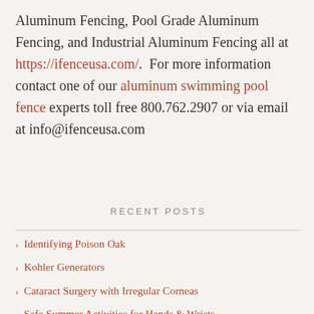Aluminum Fencing, Pool Grade Aluminum Fencing, and Industrial Aluminum Fencing all at https://ifenceusa.com/.  For more information contact one of our aluminum swimming pool fence experts toll free 800.762.2907 or via email at info@ifenceusa.com
RECENT POSTS
Identifying Poison Oak
Kohler Generators
Cataract Surgery with Irregular Corneas
Safe Summer Activities for Hands & Wrists